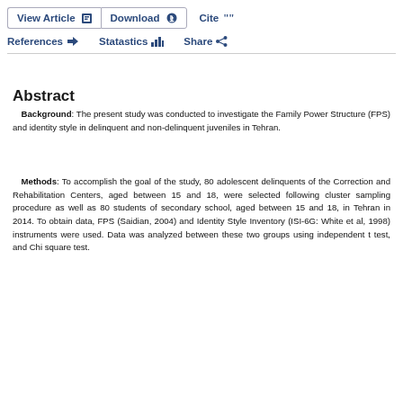View Article   Download   Cite   References   Statastics   Share
Abstract
Background: The present study was conducted to investigate the Family Power Structure (FPS) and identity style in delinquent and non-delinquent juveniles in Tehran.
Methods: To accomplish the goal of the study, 80 adolescent delinquents of the Correction and Rehabilitation Centers, aged between 15 and 18, were selected following cluster sampling procedure as well as 80 students of secondary school, aged between 15 and 18, in Tehran in 2014. To obtain data, FPS (Saidian, 2004) and Identity Style Inventory (ISI-6G: White et al, 1998) instruments were used. Data was analyzed between these two groups using independent t test, and Chi square test.